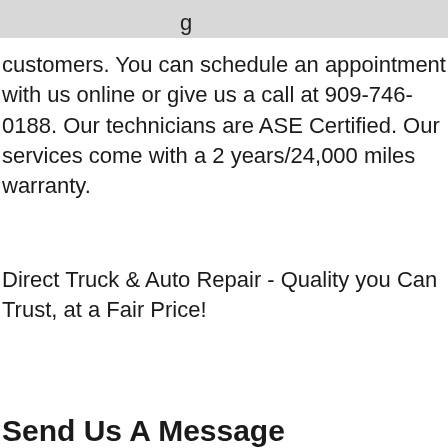g
customers. You can schedule an appointment with us online or give us a call at 909-746-0188. Our technicians are ASE Certified. Our services come with a 2 years/24,000 miles warranty.
Direct Truck & Auto Repair - Quality you Can Trust, at a Fair Price!
Send Us A Message